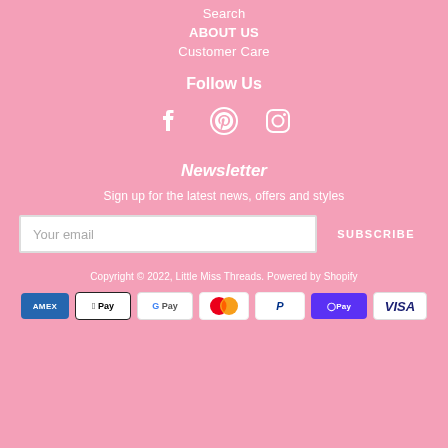Search
ABOUT US
Customer Care
Follow Us
[Figure (illustration): Social media icons: Facebook, Pinterest, Instagram]
Newsletter
Sign up for the latest news, offers and styles
Your email / SUBSCRIBE
Copyright © 2022, Little Miss Threads. Powered by Shopify
[Figure (logo): Payment method logos: American Express, Apple Pay, Google Pay, Mastercard, PayPal, Shop Pay, Visa]